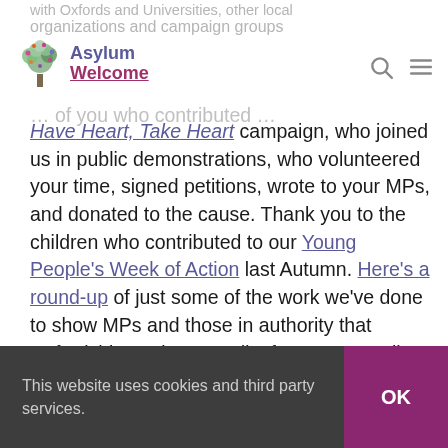with Oxfords and Universities, other local organizations and campaign groups
[Figure (logo): Asylum Welcome logo with tree icon and text 'Asylum Welcome']
Have Heart, Take Heart campaign, who joined us in public demonstrations, who volunteered your time, signed petitions, wrote to your MPs, and donated to the cause. Thank you to the children who contributed to our Young People's Week of Action last Autumn. Here's a round-up of just some of the work we've done to show MPs and those in authority that Oxfordshire welcomes all refugees, regardless of how they got here.
This website uses cookies and third party services.